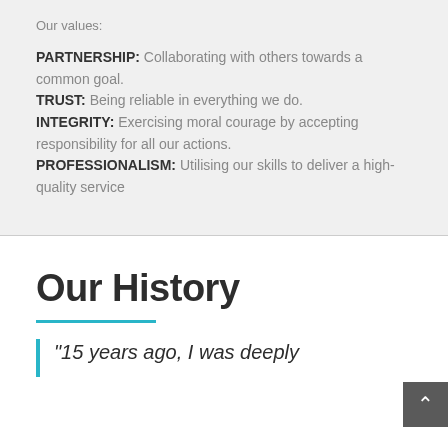Our values:
PARTNERSHIP: Collaborating with others towards a common goal.
TRUST: Being reliable in everything we do.
INTEGRITY: Exercising moral courage by accepting responsibility for all our actions.
PROFESSIONALISM: Utilising our skills to deliver a high-quality service
Our History
“15 years ago, I was deeply